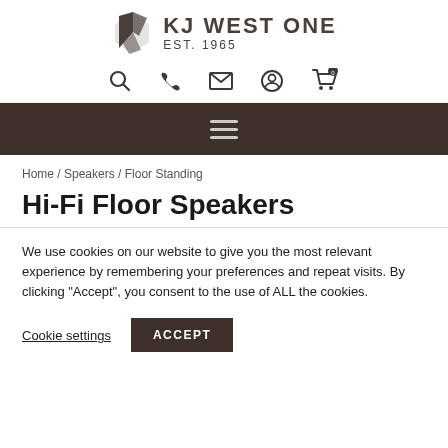[Figure (logo): KJ West One logo with stylized icon and text 'KJ WEST ONE EST. 1965']
[Figure (infographic): Navigation icons: search, phone, email, account, shopping cart with 0 badge]
[Figure (infographic): Dark brown menu bar with hamburger (three lines) icon]
Home / Speakers / Floor Standing
Hi-Fi Floor Speakers
We use cookies on our website to give you the most relevant experience by remembering your preferences and repeat visits. By clicking “Accept”, you consent to the use of ALL the cookies.
Cookie settings   ACCEPT